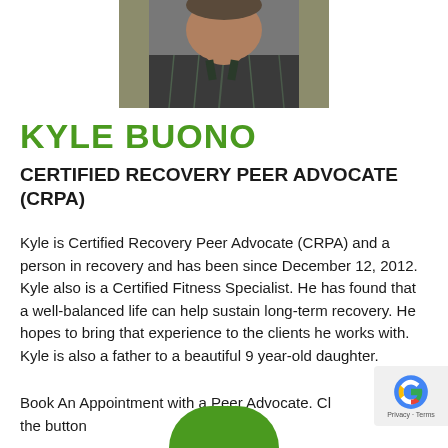[Figure (photo): Headshot photo of Kyle Buono, a man in a dark plaid shirt, cropped at the top of the page]
KYLE BUONO
CERTIFIED RECOVERY PEER ADVOCATE (CRPA)
Kyle is Certified Recovery Peer Advocate (CRPA) and a person in recovery and has been since December 12, 2012. Kyle also is a Certified Fitness Specialist. He has found that a well-balanced life can help sustain long-term recovery. He hopes to bring that experience to the clients he works with. Kyle is also a father to a beautiful 9 year-old daughter.
Book An Appointment with a Peer Advocate. Cl the button